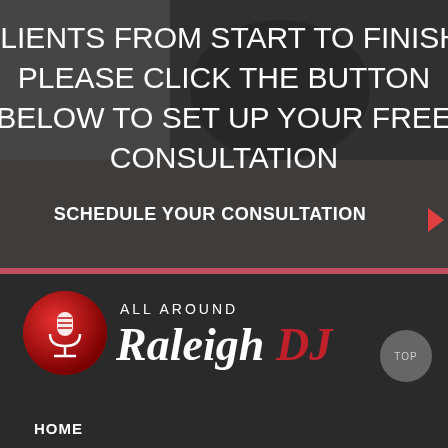[Figure (photo): Grayscale background photo of a person lying in grass/hay, partially visible, with dark overlay. Text overlay reads 'CLIENTS FROM START TO FINISH. PLEASE CLICK THE BUTTON BELOW TO SET UP YOUR FREE CONSULTATION' and a CTA button 'SCHEDULE YOUR CONSULTATION ▶']
CLIENTS FROM START TO FINISH. PLEASE CLICK THE BUTTON BELOW TO SET UP YOUR FREE CONSULTATION
SCHEDULE YOUR CONSULTATION ▶
[Figure (logo): All Around Raleigh DJ logo: red circle with microphone icon, text 'ALL AROUND Raleigh DJ' where Raleigh is in white italic and DJ is in red italic]
HOME